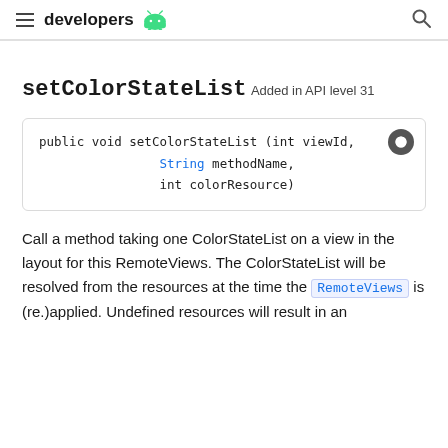developers [android logo]
setColorStateList
Added in API level 31
public void setColorStateList (int viewId,
                String methodName,
                int colorResource)
Call a method taking one ColorStateList on a view in the layout for this RemoteViews. The ColorStateList will be resolved from the resources at the time the RemoteViews is (re.)applied. Undefined resources will result in an